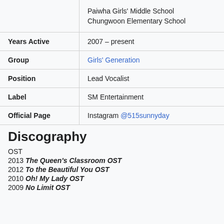|  | Paiwha Girls' Middle School
Chungwoon Elementary School |
| Years Active | 2007 – present |
| Group | Girls' Generation |
| Position | Lead Vocalist |
| Label | SM Entertainment |
| Official Page | Instagram @515sunnyday |
Discography
OST
2013 The Queen's Classroom OST
2012 To the Beautiful You OST
2010 Oh! My Lady OST
2009 No Limit OST